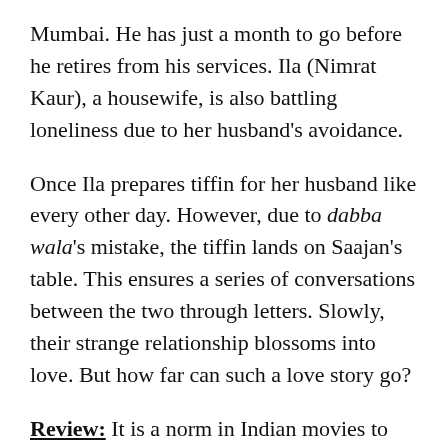Mumbai. He has just a month to go before he retires from his services. Ila (Nimrat Kaur), a housewife, is also battling loneliness due to her husband's avoidance.
Once Ila prepares tiffin for her husband like every other day. However, due to dabba wala's mistake, the tiffin lands on Saajan's table. This ensures a series of conversations between the two through letters. Slowly, their strange relationship blossoms into love. But how far can such a love story go?
Review: It is a norm in Indian movies to include dramatic, powerful dialogues or blaring background music to generate emotions. But debutant Ritesh Batra's The Lunchbox breaks all these norms and how! By using just a subtle, simple narration, he